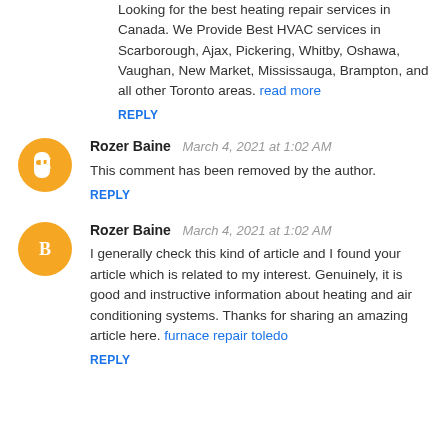Looking for the best heating repair services in Canada. We Provide Best HVAC services in Scarborough, Ajax, Pickering, Whitby, Oshawa, Vaughan, New Market, Mississauga, Brampton, and all other Toronto areas. read more
REPLY
Rozer Baine  March 4, 2021 at 1:02 AM
This comment has been removed by the author.
REPLY
Rozer Baine  March 4, 2021 at 1:02 AM
I generally check this kind of article and I found your article which is related to my interest. Genuinely, it is good and instructive information about heating and air conditioning systems. Thanks for sharing an amazing article here. furnace repair toledo
REPLY